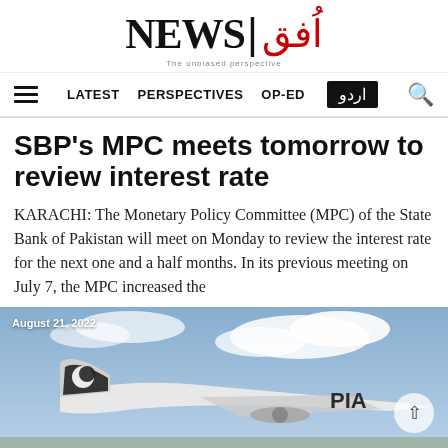NEWS | اُفق — The unbiased perspective
LATEST   PERSPECTIVES   OP-ED   اردو
SBP's MPC meets tomorrow to review interest rate
KARACHI: The Monetary Policy Committee (MPC) of the State Bank of Pakistan will meet on Monday to review the interest rate for the next one and a half months. In its previous meeting on July 7, the MPC increased the
[Figure (photo): Photograph of a PIA (Pakistan International Airlines) aircraft tail and body on a runway with blue sky and clouds in the background. Date label: August 21, 2022.]